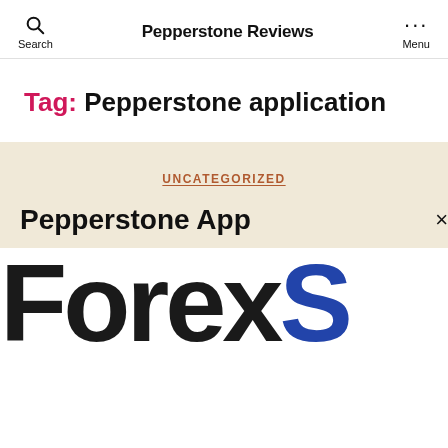Pepperstone Reviews
Tag: Pepperstone application
UNCATEGORIZED
Pepperstone App
[Figure (logo): Large bold text reading 'ForexS' in black and blue, cropped banner image]